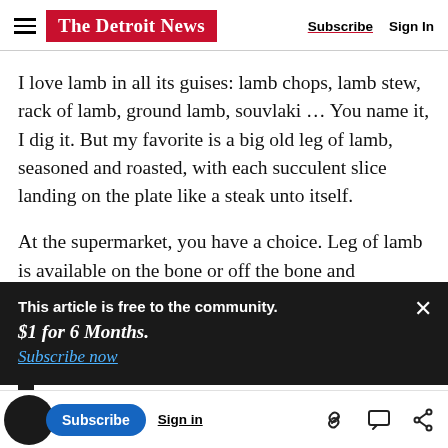The Detroit News — Subscribe  Sign In
I love lamb in all its guises: lamb chops, lamb stew, rack of lamb, ground lamb, souvlaki … You name it, I dig it. But my favorite is a big old leg of lamb, seasoned and roasted, with each succulent slice landing on the plate like a steak unto itself.
At the supermarket, you have a choice. Leg of lamb is available on the bone or off the bone and butterflied (in which form it's easiest to carve...
This article is free to the community.
$1 for 6 Months.
Subscribe now
second has to do with presentation; serving leg of
medieval feast with everyone sitting around the